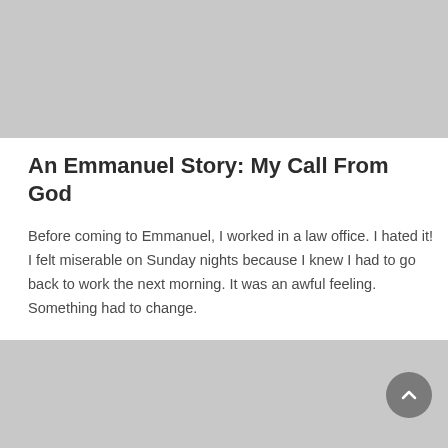[Figure (photo): Grey placeholder image at the top of the page]
An Emmanuel Story: My Call From God
Before coming to Emmanuel, I worked in a law office. I hated it! I felt miserable on Sunday nights because I knew I had to go back to work the next morning. It was an awful feeling. Something had to change.
READ MORE
[Figure (photo): Grey placeholder image at the bottom of the page]